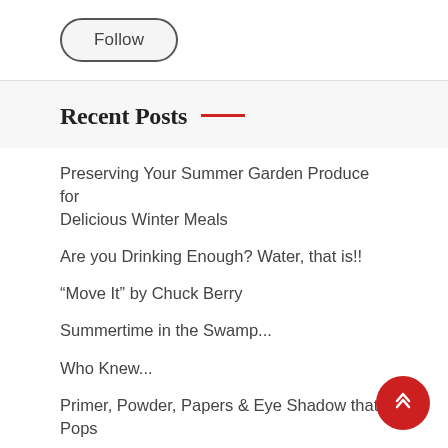[Figure (other): Follow button — rounded rectangle pill button with 'Follow' text]
Recent Posts
Preserving Your Summer Garden Produce for Delicious Winter Meals
Are you Drinking Enough? Water, that is!!
“Move It” by Chuck Berry
Summertime in the Swamp...
Who Knew...
Primer, Powder, Papers & Eye Shadow that Pops
Paying down debt vs. investing